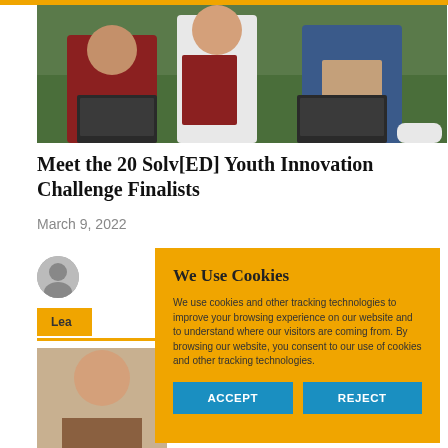[Figure (photo): Students sitting on grass outdoors with laptops and books, studying together.]
Meet the 20 Solv[ED] Youth Innovation Challenge Finalists
March 9, 2022
[Figure (photo): Small circular author avatar photo.]
Lea
[Figure (photo): Partial bottom image of a person.]
We Use Cookies
We use cookies and other tracking technologies to improve your browsing experience on our website and to understand where our visitors are coming from. By browsing our website, you consent to our use of cookies and other tracking technologies.
ACCEPT
REJECT